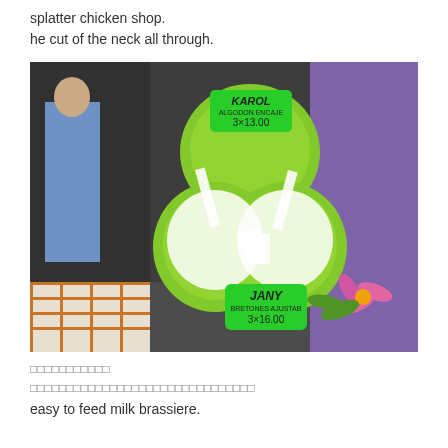splatter chicken shop.
he cut of the neck all through.
[Figure (photo): Photo of green mannequin torsos wearing white brassiere/nursing bra, with green price tags reading 'KAROL 3x13.00' and 'JANY 3x16.00', displayed in a shop. A person in blue clothes is visible in the background on the left.]
□□□□□□□□□□□
□□□□□□□□□□□□□□□□□□□□□□□□□□□□□
easy to feed milk brassiere.